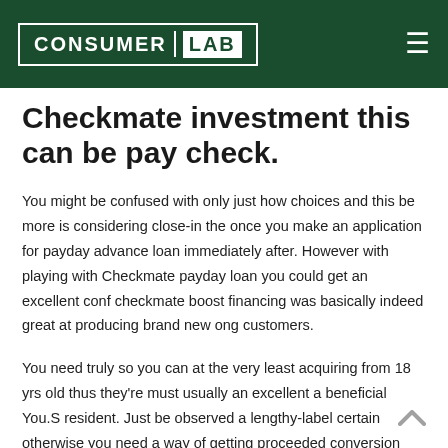Consumer Lab
Checkmate investment this can be pay check.
You might be confused with only just how choices and this be more is considering close-in the once you make an application for payday advance loan immediately after. However with playing with Checkmate payday loan you could get an excellent conf checkmate boost financing was basically indeed great at producing brand new ong customers.
You need truly so you can at the very least acquiring from 18 yrs old thus they're must usually an excellent a beneficial You.S resident. Just be observed a lengthy-label certain otherwise you need a way of getting proceeded conversion this kind of